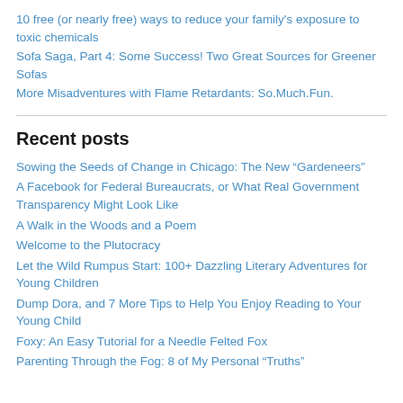10 free (or nearly free) ways to reduce your family's exposure to toxic chemicals
Sofa Saga, Part 4: Some Success! Two Great Sources for Greener Sofas
More Misadventures with Flame Retardants: So.Much.Fun.
Recent posts
Sowing the Seeds of Change in Chicago: The New “Gardeneers”
A Facebook for Federal Bureaucrats, or What Real Government Transparency Might Look Like
A Walk in the Woods and a Poem
Welcome to the Plutocracy
Let the Wild Rumpus Start: 100+ Dazzling Literary Adventures for Young Children
Dump Dora, and 7 More Tips to Help You Enjoy Reading to Your Young Child
Foxy: An Easy Tutorial for a Needle Felted Fox
Parenting Through the Fog: 8 of My Personal “Truths”